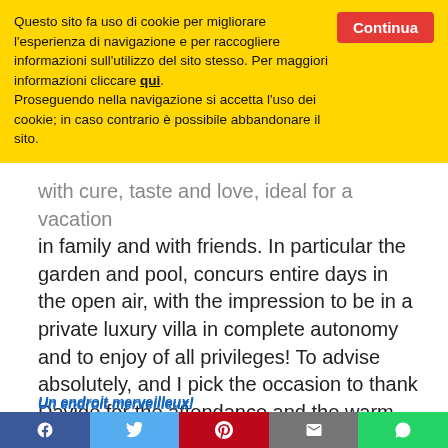Questo sito fa uso di cookie per migliorare l'esperienza di navigazione e per raccogliere informazioni sull'utilizzo del sito stesso. Per maggiori informazioni cliccare qui. Proseguendo nella navigazione si accetta l'uso dei cookie; in caso contrario è possibile abbandonare il sito.
Continua
with cure, taste and love, ideal for a vacation in family and with friends. In particular the garden and pool, concurs entire days in the open air, with the impression to be in a private luxury villa in complete autonomy and to enjoy of all privileges! To advise absolutely, and I pick the occasion to thank Davide for the attendance and the warm welcome.
Un endroit merveilleux!
Santa Maria – Cape Verde · Review submitted